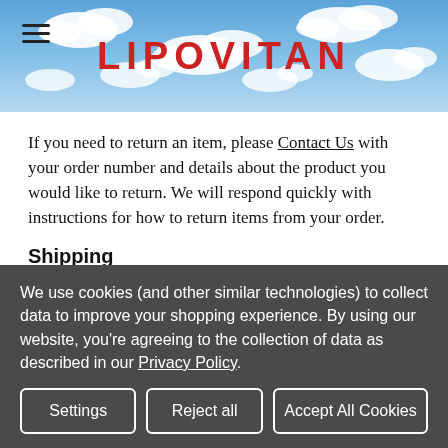LIPOVITAN
If you need to return an item, please Contact Us with your order number and details about the product you would like to return. We will respond quickly with instructions for how to return items from your order.
Shipping
We ship to United States Only.
When you place an order, we will estimate shipping and delivery dates for you based on the availability of your items
We use cookies (and other similar technologies) to collect data to improve your shopping experience. By using our website, you're agreeing to the collection of data as described in our Privacy Policy.